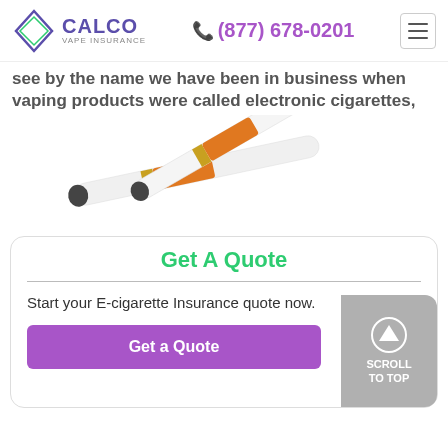CALCO VAPE INSURANCE | (877) 678-0201
see by the name we have been in business when vaping products were called electronic cigarettes,
[Figure (photo): Two white electronic cigarettes/e-cigarettes crossed over each other, one with an orange tip, on a white background]
Get A Quote
Start your E-cigarette Insurance quote now.
Get a Quote